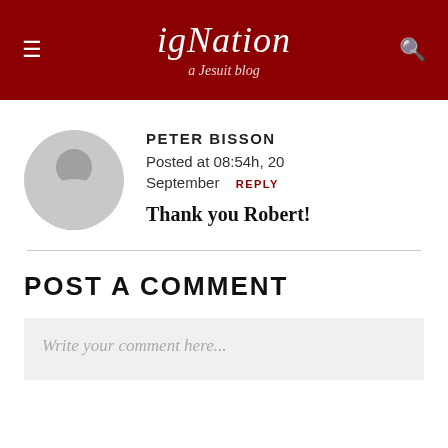igNation a Jesuit blog
[Figure (illustration): Grey circular avatar placeholder with user silhouette icon]
PETER BISSON
Posted at 08:54h, 20 September  REPLY
Thank you Robert!
POST A COMMENT
Write your comment here...